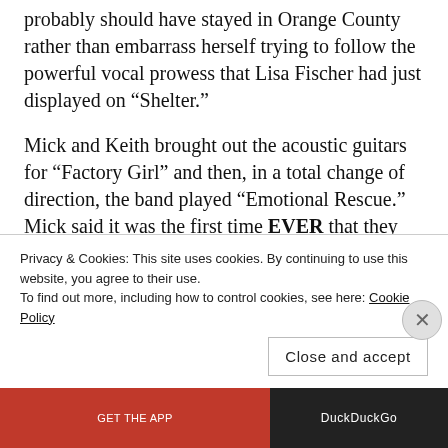probably should have stayed in Orange County rather than embarrass herself trying to follow the powerful vocal prowess that Lisa Fischer had just displayed on “Shelter.”
Mick and Keith brought out the acoustic guitars for “Factory Girl” and then, in a total change of direction, the band played “Emotional Rescue.” Mick said it was the first time EVER that they performed the song live.
Keith Urban made a guest appearance on “Respectable” but the song really belonged to
Privacy & Cookies: This site uses cookies. By continuing to use this website, you agree to their use.
To find out more, including how to control cookies, see here: Cookie Policy
Close and accept